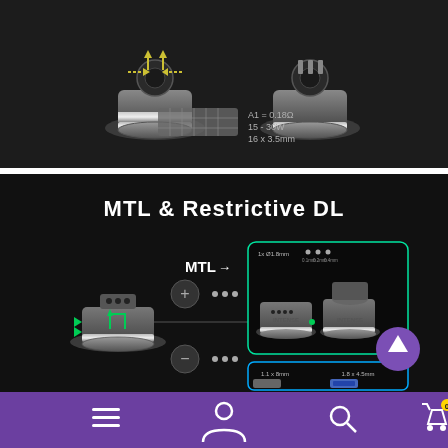[Figure (photo): Product photo showing two vaping atomizer/RDA devices on dark background with coil specifications: A1 = 0.18Ω, 15-30W, 16 x 3.5mm]
[Figure (infographic): Infographic titled 'MTL & Restrictive DL' showing vaping device airflow configurations with MTL label, green-bordered info box showing device images with '1x Ø1.8mm' text, blue-bordered box with '1.1 x 8mm' and '1.8 x 4.5mm' text, and a purple upward arrow button]
Navigation bar with menu, user, search, and cart icons